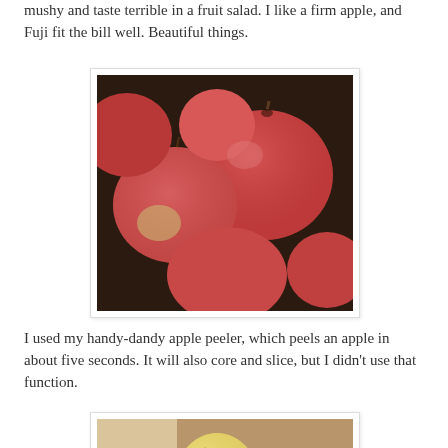mushy and taste terrible in a fruit salad. I like a firm apple, and Fuji fit the bill well. Beautiful things.
[Figure (photo): Close-up photograph of many red and pink Fuji apples clustered together]
I used my handy-dandy apple peeler, which peels an apple in about five seconds. It will also core and slice, but I didn't use that function.
[Figure (photo): Photograph of an apple mounted on a red mechanical apple peeler device on a wooden surface]